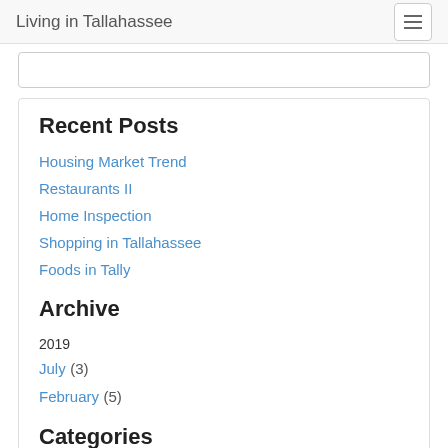Living in Tallahassee
Recent Posts
Housing Market Trend
Restaurants II
Home Inspection
Shopping in Tallahassee
Foods in Tally
Archive
2019
July (3)
February (5)
Categories